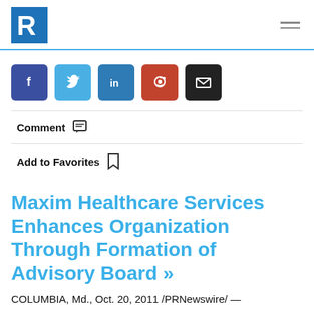R [logo] | hamburger menu
[Figure (other): Social share buttons: Facebook, Twitter, LinkedIn, Reddit, Email]
Comment
Add to Favorites
Maxim Healthcare Services Enhances Organization Through Formation of Advisory Board »
COLUMBIA, Md., Oct. 20, 2011 /PRNewswire/ —